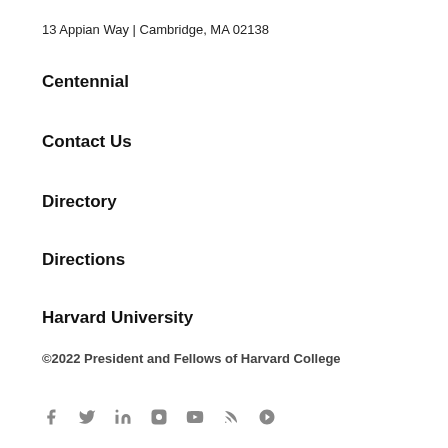13 Appian Way | Cambridge, MA 02138
Centennial
Contact Us
Directory
Directions
Harvard University
©2022 President and Fellows of Harvard College
[Figure (other): Social media icons: Facebook, Twitter, LinkedIn, Instagram, YouTube, RSS, and another icon]